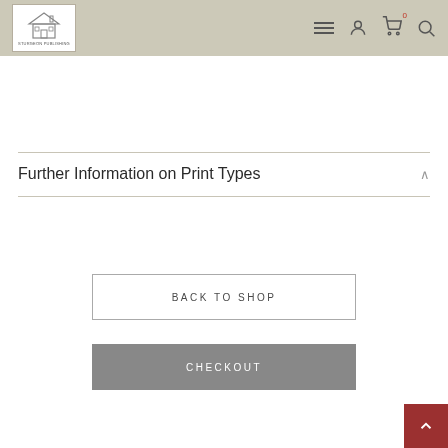Sturgeon Publishing — navigation header with logo, menu, account, cart (0), and search icons
Further Information on Print Types
BACK TO SHOP
CHECKOUT